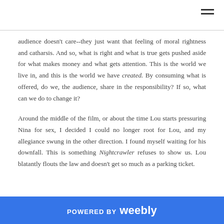audience doesn't care--they just want that feeling of moral rightness and catharsis. And so, what is right and what is true gets pushed aside for what makes money and what gets attention. This is the world we live in, and this is the world we have created. By consuming what is offered, do we, the audience, share in the responsibility? If so, what can we do to change it?

Around the middle of the film, or about the time Lou starts pressuring Nina for sex, I decided I could no longer root for Lou, and my allegiance swung in the other direction. I found myself waiting for his downfall. This is something Nightcrawler refuses to show us. Lou blatantly flouts the law and doesn't get so much as a parking ticket.
POWERED BY weebly